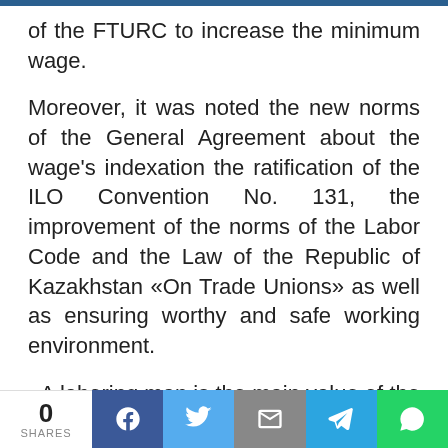of the FTURC to increase the minimum wage.
Moreover, it was noted the new norms of the General Agreement about the wage's indexation the ratification of the ILO Convention No. 131, the improvement of the norms of the Labor Code and the Law of the Republic of Kazakhstan «On Trade Unions» as well as ensuring worthy and safe working environment.
«A laboring man is the main value of the Federation of Trade Unions. Our main priorities are worthy working conditions and remuneration, social stability and effective
0 SHARES | Facebook | Twitter | Email | Telegram | WhatsApp